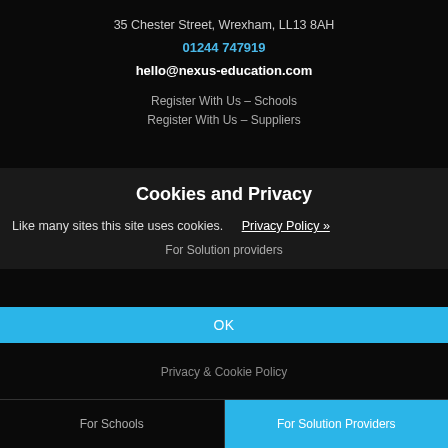35 Chester Street, Wrexham, LL13 8AH
01244 747919
hello@nexus-education.com
Register With Us – Schools
Register With Us – Suppliers
Cookies and Privacy
Like many sites this site uses cookies.   Privacy Policy »
For Solution providers
OK
Privacy & Cookie Policy
For Schools   |   For Solution Providers